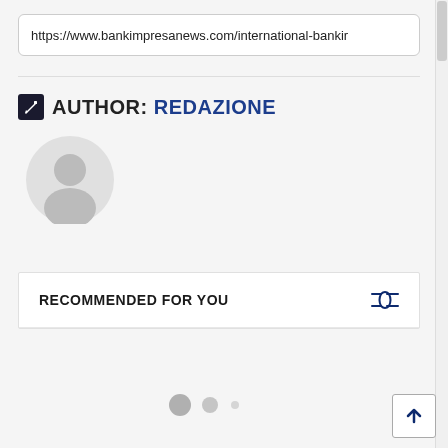https://www.bankimpresanews.com/international-bankir
AUTHOR: REDAZIONE
[Figure (illustration): Gray user avatar/profile icon circle]
RECOMMENDED FOR YOU
[Figure (other): Three loading dots: large gray, medium gray, small dot]
[Figure (other): Back to top button with up arrow]